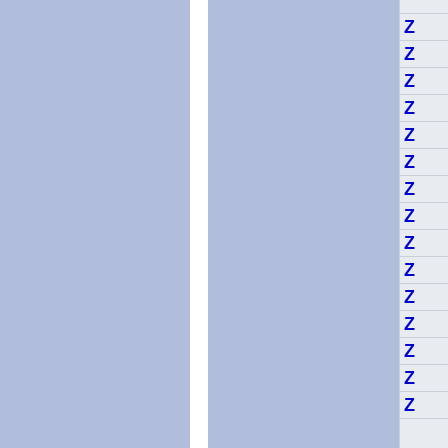[Figure (other): Two large blue-gray rectangular panels separated by a white vertical divider, occupying the left ~400px of the page. The background is light gray-blue.]
| Z |
| --- |
| Z |
| Z |
| Z |
| Z |
| Z |
| Z |
| Z |
| Z |
| Z |
| Z |
| Z |
| Z |
| Z |
| Z |
| Z |
| Z |